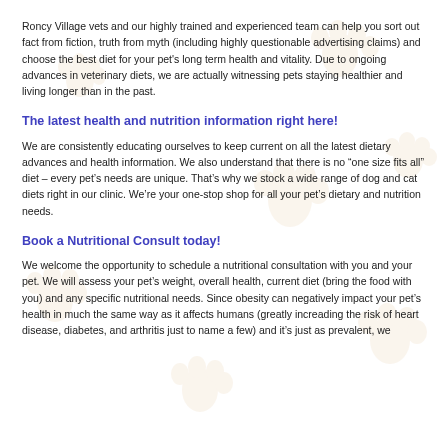Roncy Village vets and our highly trained and experienced team can help you sort out fact from fiction, truth from myth (including highly questionable advertising claims) and choose the best diet for your pet's long term health and vitality. Due to ongoing advances in veterinary diets, we are actually witnessing pets staying healthier and living longer than in the past.
The latest health and nutrition information right here!
We are consistently educating ourselves to keep current on all the latest dietary advances and health information. We also understand that there is no “one size fits all” diet – every pet’s needs are unique. That’s why we stock a wide range of dog and cat diets right in our clinic. We’re your one-stop shop for all your pet’s dietary and nutrition needs.
Book a Nutritional Consult today!
We welcome the opportunity to schedule a nutritional consultation with you and your pet. We will assess your pet’s weight, overall health, current diet (bring the food with you) and any specific nutritional needs. Since obesity can negatively impact your pet’s health in much the same way as it affects humans (greatly increading the risk of heart disease, diabetes, and arthritis just to name a few) and it’s just as prevalent, we